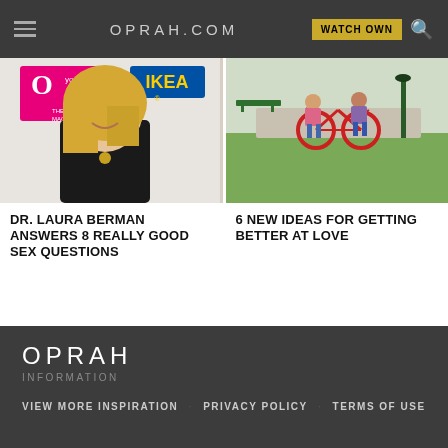OPRAH.COM  WATCH OWN
[Figure (photo): Woman with blonde hair at event with O Magazine and IKEA banners]
[Figure (photo): Couple riding tandem bicycle in a park]
DR. LAURA BERMAN ANSWERS 8 REALLY GOOD SEX QUESTIONS
6 NEW IDEAS FOR GETTING BETTER AT LOVE
OPRAH INFORMATION VIEW MORE INSPIRATION  PRIVACY POLICY  TERMS OF USE